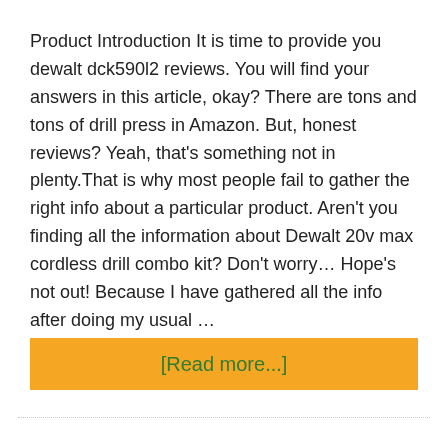Product Introduction It is time to provide you dewalt dck590l2 reviews. You will find your answers in this article, okay? There are tons and tons of drill press in Amazon. But, honest reviews? Yeah, that's something not in plenty.That is why most people fail to gather the right info about a particular product. Aren't you finding all the information about Dewalt 20v max cordless drill combo kit? Don't worry… Hope's not out! Because I have gathered all the info after doing my usual …
[Read more...]